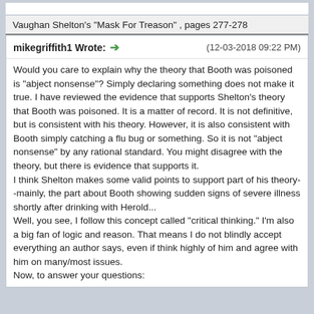Vaughan Shelton's "Mask For Treason" , pages 277-278
mikegriffith1 Wrote: → (12-03-2018 09:22 PM)
Would you care to explain why the theory that Booth was poisoned is "abject nonsense"? Simply declaring something does not make it true. I have reviewed the evidence that supports Shelton's theory that Booth was poisoned. It is a matter of record. It is not definitive, but is consistent with his theory. However, it is also consistent with Booth simply catching a flu bug or something. So it is not "abject nonsense" by any rational standard. You might disagree with the theory, but there is evidence that supports it.
I think Shelton makes some valid points to support part of his theory--mainly, the part about Booth showing sudden signs of severe illness shortly after drinking with Herold...
Well, you see, I follow this concept called "critical thinking." I'm also a big fan of logic and reason. That means I do not blindly accept everything an author says, even if think highly of him and agree with him on many/most issues.
Now, to answer your questions: